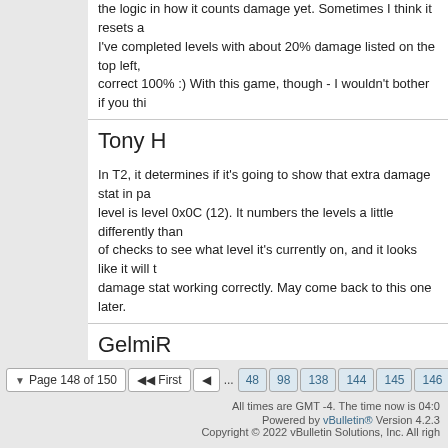the logic in how it counts damage yet. Sometimes I think it resets a I've completed levels with about 20% damage listed on the top left, correct 100% :) With this game, though - I wouldn't bother if you thi
Tony H
In T2, it determines if it's going to show that extra damage stat in pa level is level 0x0C (12). It numbers the levels a little differently than of checks to see what level it's currently on, and it looks like it will t damage stat working correctly. May come back to this one later.
GelmiR
Thanks for trying and for the info Tony! But if this would require a b time into it :)
I've been in a Mega Drive mood for 2 weeks already, going to read some codes I'd like to test.
Page 148 of 150  First  ...  48  98  138  144  145  146
All times are GMT -4. The time now is 04:0
Powered by vBulletin® Version 4.2.3 Copyright © 2022 vBulletin Solutions, Inc. All righ